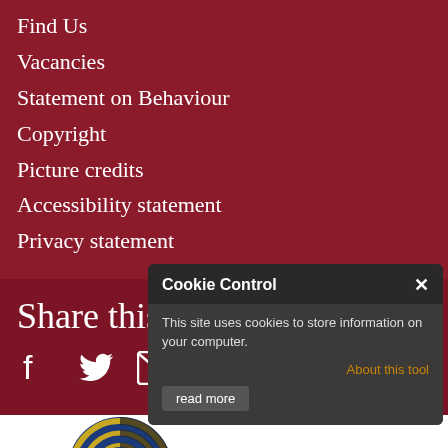Find Us
Vacancies
Statement on Behaviour
Copyright
Picture credits
Accessibility statement
Privacy statement
Share this page
[Figure (infographic): Social share icons: Facebook, Twitter, Email]
[Figure (infographic): Cookie Control popup with title 'Cookie Control', close X button, text 'This site uses cookies to store information on your computer.', 'About this tool' link, and 'read more' button]
[Figure (logo): Arts & Humanities logo with circular design in blue and yellow/gold, with text 'Arts & Humanities']